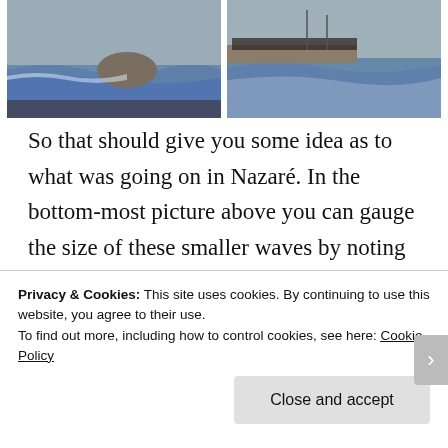[Figure (photo): Two side-by-side photos of ocean waves at Nazaré, with crowds of people watching from a clifftop on the right.]
So that should give you some idea as to what was going on in Nazaré. In the bottom-most picture above you can gauge the size of these smaller waves by noting the little black dots on the water- those are the jet skis that tow the surfers out and save their lives when they
Privacy & Cookies: This site uses cookies. By continuing to use this website, you agree to their use.
To find out more, including how to control cookies, see here: Cookie Policy
Close and accept